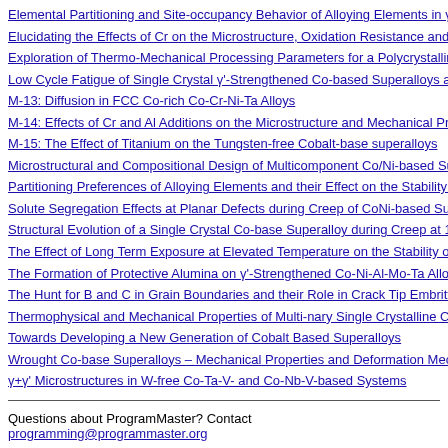Elemental Partitioning and Site-occupancy Behavior of Alloying Elements in γ/γ'…
Elucidating the Effects of Cr on the Microstructure, Oxidation Resistance and Me…
Exploration of Thermo-Mechanical Processing Parameters for a Polycrystalline γ…
Low Cycle Fatigue of Single Crystal γ'-Strengthened Co-based Superalloys at 75…
M-13: Diffusion in FCC Co-rich Co-Cr-Ni-Ta Alloys
M-14: Effects of Cr and Al Additions on the Microstructure and Mechanical Prop…
M-15: The Effect of Titanium on the Tungsten-free Cobalt-base superalloys
Microstructural and Compositional Design of Multicomponent Co/Ni-based Supe…
Partitioning Preferences of Alloying Elements and their Effect on the Stability of…
Solute Segregation Effects at Planar Defects during Creep of CoNi-based Supera…
Structural Evolution of a Single Crystal Co-base Superalloy during Creep at 1000…
The Effect of Long Term Exposure at Elevated Temperature on the Stability of a…
The Formation of Protective Alumina on γ'-Strengthened Co-Ni-Al-Mo-Ta Alloy…
The Hunt for B and C in Grain Boundaries and their Role in Crack Tip Embrittle…
Thermophysical and Mechanical Properties of Multi-nary Single Crystalline Co-b…
Towards Developing a New Generation of Cobalt Based Superalloys
Wrought Co-base Superalloys – Mechanical Properties and Deformation Mechan…
γ+γ' Microstructures in W-free Co-Ta-V- and Co-Nb-V-based Systems
Questions about ProgramMaster? Contact programming@programmaster.org